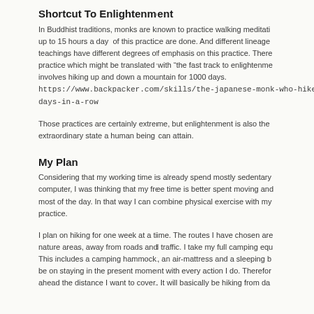Shortcut To Enlightenment
In Buddhist traditions, monks are known to practice walking meditation up to 15 hours a day  of this practice are done. And different lineage teachings have different degrees of emphasis on this practice. There practice which might be translated with “the fast track to enlightenment involves hiking up and down a mountain for 1000 days. https://www.backpacker.com/skills/the-japanese-monk-who-hiked-a- days-in-a-row
Those practices are certainly extreme, but enlightenment is also the extraordinary state a human being can attain.
My Plan
Considering that my working time is already spend mostly sedentary computer, I was thinking that my free time is better spent moving and most of the day. In that way I can combine physical exercise with my practice.
I plan on hiking for one week at a time. The routes I have chosen are nature areas, away from roads and traffic. I take my full camping equipment. This includes a camping hammock, an air-mattress and a sleeping bag. be on staying in the present moment with every action I do. Therefore ahead the distance I want to cover. It will basically be hiking from da